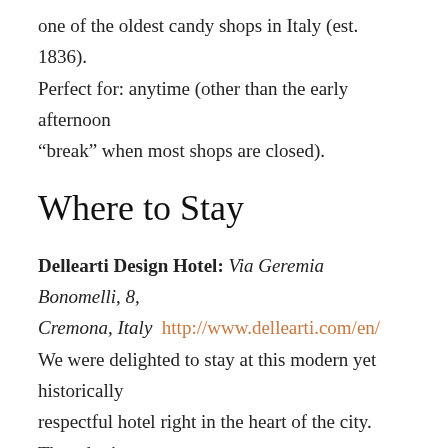one of the oldest candy shops in Italy (est. 1836). Perfect for: anytime (other than the early afternoon “break” when most shops are closed).
Where to Stay
Dellearti Design Hotel: Via Geremia Bonomelli, 8, Cremona, Italy  http://www.dellearti.com/en/ We were delighted to stay at this modern yet historically respectful hotel right in the heart of the city. They don’t have a fancy restaurant, but the rooms (and spacious bathtubs in particular) are very comfortable, and the location can’t be beat.
Please note: All photos are taken by me other than photos of